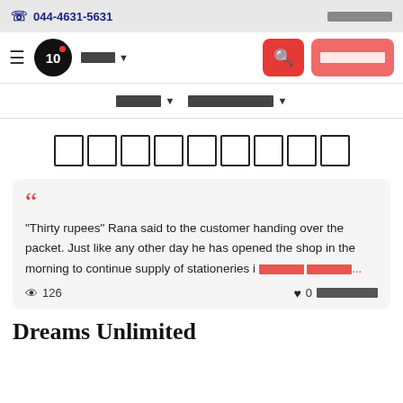044-4631-5631
[Figure (screenshot): Website navigation bar with logo, language selector, search button, and CTA button]
Navigation menu with category dropdowns
████████████ (Tamil script title)
"Thirty rupees" Rana said to the customer handing over the packet. Just like any other day he has opened the shop in the morning to continue supply of stationeries i ██████ ██████...
126 views · 0 ██████████████
Dreams Unlimited